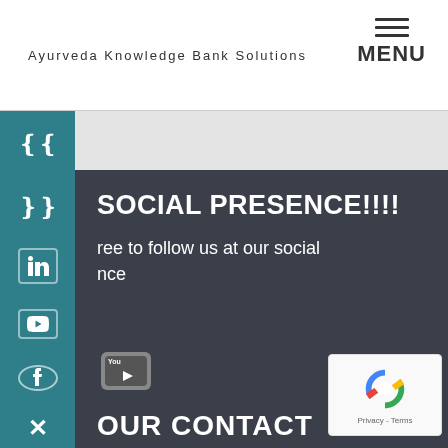Ayurveda Knowledge Bank Solutions
MENU
[Figure (screenshot): Teal vertical sidebar with social media icons: chevron up, chevron down, LinkedIn, YouTube, Facebook, X (Twitter)]
SOCIAL PRESENCE!!!!
ree to follow us at our social nce
[Figure (logo): YouTube icon button]
[Figure (logo): reCAPTCHA widget with Privacy - Terms]
OUR CONTACT